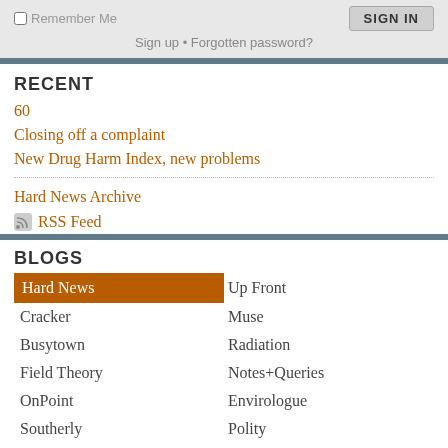Remember Me | SIGN IN
Sign up • Forgotten password?
RECENT
60
Closing off a complaint
New Drug Harm Index, new problems
Hard News Archive
RSS Feed
BLOGS
Hard News
Up Front
Cracker
Muse
Busytown
Radiation
Field Theory
Notes+Queries
OnPoint
Envirologue
Southerly
Polity
Legal Beagle
Speaker
Capture
Feed
Access